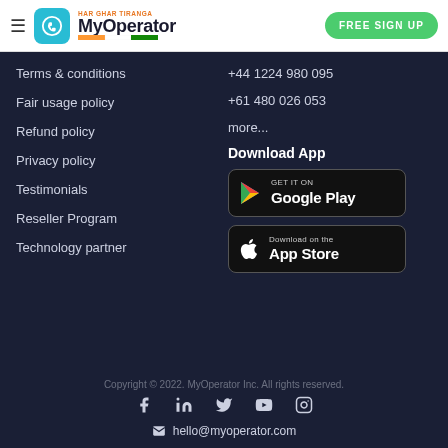[Figure (logo): MyOperator logo with hamburger menu and FREE SIGN UP button in header]
Terms & conditions
Fair usage policy
Refund policy
Privacy policy
Testimonials
Reseller Program
Technology partner
+44 1224 980 095
+61 480 026 053
more...
Download App
[Figure (screenshot): Google Play Store download badge]
[Figure (screenshot): Apple App Store download badge]
Copyright © 2022. MyOperator Inc. All rights reserved.
hello@myoperator.com